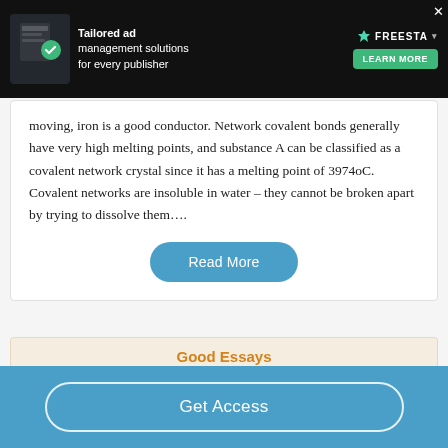[Figure (screenshot): Dark advertisement banner for 'Freestar' ad management platform with green 'Learn More' button and graphic elements]
moving, iron is a good conductor. Network covalent bonds generally have very high melting points, and substance A can be classified as a covalent network crystal since it has a melting point of 3974oC. Covalent networks are insoluble in water – they cannot be broken apart by trying to dissolve them….
Read More
Good Essays
Get Access